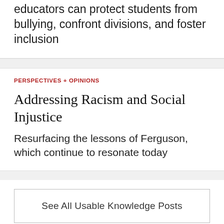educators can protect students from bullying, confront divisions, and foster inclusion
PERSPECTIVES + OPINIONS
Addressing Racism and Social Injustice
Resurfacing the lessons of Ferguson, which continue to resonate today
See All Usable Knowledge Posts
[Figure (logo): White logo/icon on dark navy background footer]